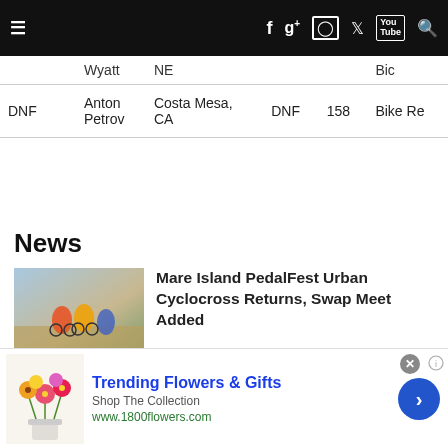Navigation bar with hamburger menu and social icons: Facebook, Google+, Instagram, Twitter, YouTube, Search
| Position | Name | City | Result | Bib | Category |
| --- | --- | --- | --- | --- | --- |
|  | Wyatt | NE |  |  | Bik... |
| DNF | Anton Petrov | Costa Mesa, CA | DNF | 158 | Bike Re... |
News
[Figure (photo): Cyclists riding in a cyclocross race, muddy terrain, colorful jerseys]
Mare Island PedalFest Urban Cyclocross Returns, Swap Meet Added
[Figure (photo): Close-up of a titanium gravel bike frame, dark background]
T-LAB Introduces X3.22 Titanium Gravel Bike and Frameset
[Figure (other): Advertisement: Trending Flowers & Gifts - 1800flowers.com, with flower bouquet image]